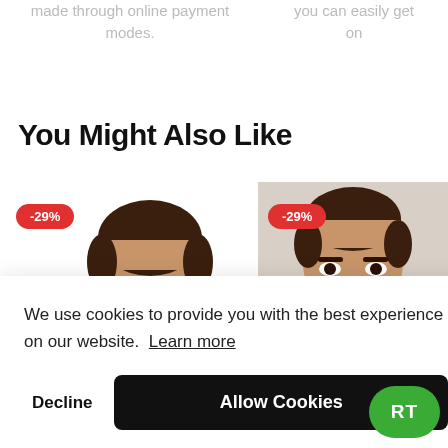made through online payment modes.
you can easily get on
You Might Also Like
[Figure (photo): Product card with -29% red badge and man face/head photo, center-left]
[Figure (photo): Product card with -29% red badge and man in plaid shirt photo, right side, partially cropped]
We use cookies to provide you with the best experience on our website. Learn more
Decline
Allow Cookies
RT